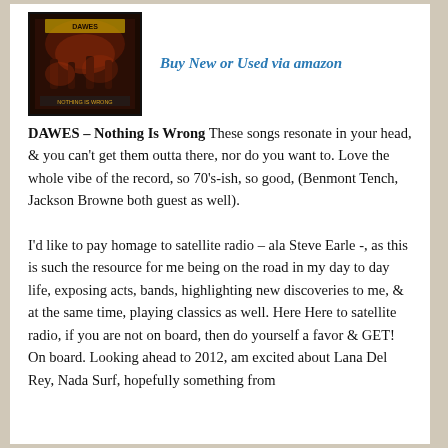[Figure (photo): Album cover image for Dawes - Nothing Is Wrong, dark reddish background with band imagery]
Buy New or Used via amazon
DAWES – Nothing Is Wrong These songs resonate in your head, & you can't get them outta there, nor do you want to. Love the whole vibe of the record, so 70's-ish, so good, (Benmont Tench, Jackson Browne both guest as well).
I'd like to pay homage to satellite radio – ala Steve Earle -, as this is such the resource for me being on the road in my day to day life, exposing acts, bands, highlighting new discoveries to me, & at the same time, playing classics as well. Here Here to satellite radio, if you are not on board, then do yourself a favor & GET! On board. Looking ahead to 2012, am excited about Lana Del Rey, Nada Surf, hopefully something from